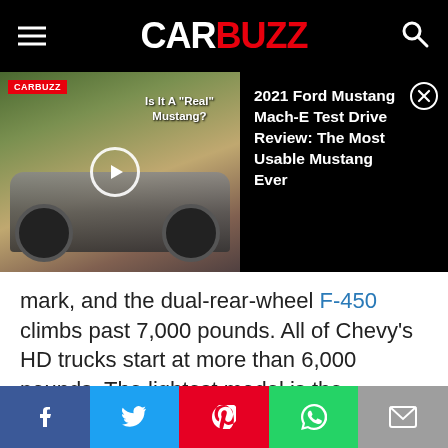CARBUZZ
[Figure (screenshot): Video thumbnail of 2021 Ford Mustang Mach-E with CARBUZZ logo badge and play button overlay. Text overlay reads: Is It A "Real" Mustang?]
2021 Ford Mustang Mach-E Test Drive Review: The Most Usable Mustang Ever
mark, and the dual-rear-wheel F-450 climbs past 7,000 pounds. All of Chevy's HD trucks start at more than 6,000 pounds. The lightest model is the Silverado 2500 HD, which weighs 6,105 pounds.

Larger, heavier vehicles are more likely to seriously
[Figure (other): Social sharing bar with Facebook, Twitter, Pinterest, WhatsApp, and Email buttons]